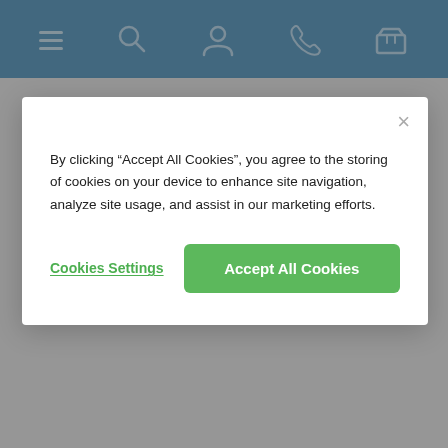Navigation bar with menu, search, account, phone, and basket icons
game or putting practice. To help you pick the right training aids for your space, needs, and budget, we have selected and tested some of our favourites.
Read more
[Figure (photo): Buyer's Guides image showing a bald man and golf club equipment against a green leafy background]
By clicking "Accept All Cookies", you agree to the storing of cookies on your device to enhance site navigation, analyze site usage, and assist in our marketing efforts.
Cookies Settings
Accept All Cookies